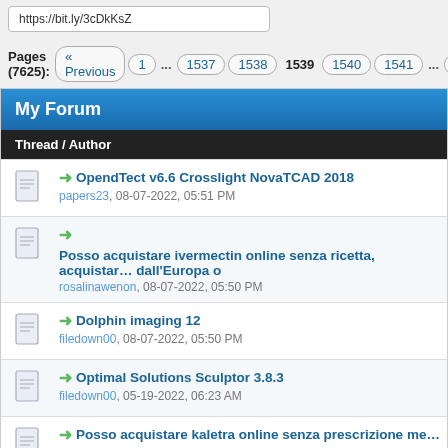https://bit.ly/3cDkKsZ
Pages (7625): « Previous  1  ...  1537  1538  1539  1540  1541  ...  7625
My Forum
| Thread / Author |
| --- |
| OpendTect v6.6 Crosslight NovaTCAD 2018
papers23, 08-07-2022, 05:51 PM |
| Posso acquistare ivermectin online senza ricetta, acquistare dall'Europa o
rosalinawenon, 08-07-2022, 05:50 PM |
| Dolphin imaging 12
filedown00, 08-07-2022, 05:50 PM |
| Optimal Solutions Sculptor 3.8.3
filedown00, 05-19-2022, 06:23 AM |
| Posso acquistare kaletra online senza prescrizione medica
rosalinawenon, 08-07-2022, 05:48 PM |
| OpenFlow 2021
papers23, 08-07-2022, 05:48 PM |